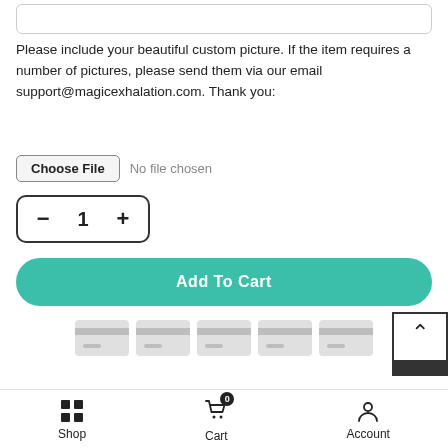Please include your beautiful custom picture. If the item requires a number of pictures, please send them via our email support@magicexhalation.com. Thank you:
[Figure (screenshot): File input row with 'Choose File' button and 'No file chosen' text]
[Figure (screenshot): Quantity selector with minus, 1, plus buttons in rounded rectangle]
[Figure (screenshot): Add To Cart button in teal/green color]
[Figure (screenshot): Five payment card icons in a row]
[Figure (screenshot): Back to top button with upward chevron]
Description
Shop  Cart  Account